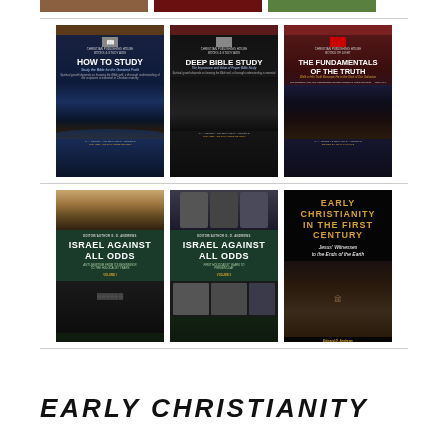[Figure (illustration): Top partial row showing three book covers (partially cropped at top of page)]
[Figure (illustration): Row of three book covers: 'HOW TO STUDY - Study the Bible for the Greatest Profit' by R.A. Torrey and Edward D. Andrews, Updated and Expanded Edition; 'DEEP BIBLE STUDY - The Importance and Value of Proper Bible Study' by R.A. Torrey and Edward D. Andrews, Updated and Expanded Edition; 'THE FUNDAMENTALS OF THE TRUTH - Walk in His Truth Because He is the God of Our Salvation' by R.A. Torrey, Edward D. Andrews, Edited by Joan Phillips]
[Figure (illustration): Row of three book covers: 'ISRAEL AGAINST ALL ODDS - Anti-Semitism From Its Beginnings to the Holocaust Years Vol. 1' by Edward D. Andrews; 'ISRAEL AGAINST ALL ODDS - First Holocaust Years to Present Day Vol. 2' by Edward D. Andrews; 'EARLY CHRISTIANITY IN THE FIRST CENTURY - Jesus Witnesses to the Ends of the Earth' by Edward D. Andrews]
EARLY CHRISTIANITY